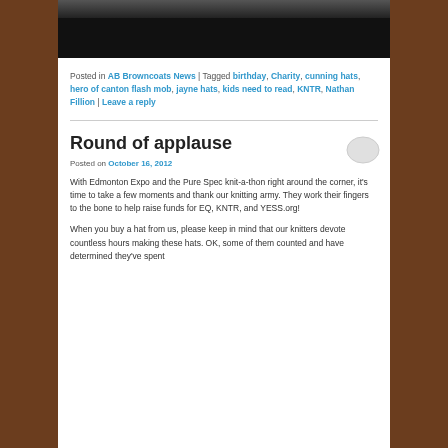[Figure (photo): Dark image strip at the top of the blog page, partially showing a scene]
Posted in AB Browncoats News | Tagged birthday, Charity, cunning hats, hero of canton flash mob, jayne hats, kids need to read, KNTR, Nathan Fillion | Leave a reply
Round of applause
Posted on October 16, 2012
With Edmonton Expo and the Pure Spec knit-a-thon right around the corner, it's time to take a few moments and thank our knitting army. They work their fingers to the bone to help raise funds for EQ, KNTR, and YESS.org!
When you buy a hat from us, please keep in mind that our knitters devote countless hours making these hats. OK, some of them counted and have determined they've spent over 750 hours knitting Jayne hats over the past 18...